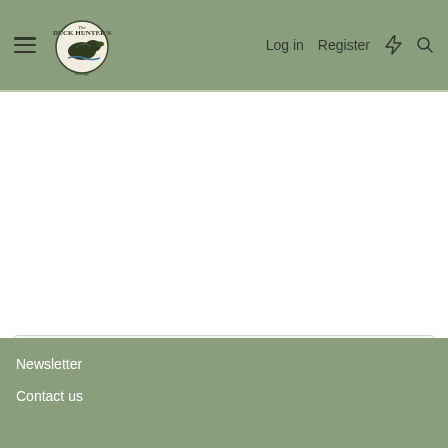Duck Hunter's Refuge | Log in | Register
Diver Hunters Forum
Newsletter
Contact us